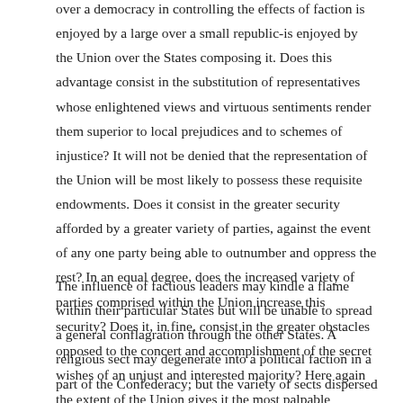over a democracy in controlling the effects of faction is enjoyed by a large over a small republic-is enjoyed by the Union over the States composing it. Does this advantage consist in the substitution of representatives whose enlightened views and virtuous sentiments render them superior to local prejudices and to schemes of injustice? It will not be denied that the representation of the Union will be most likely to possess these requisite endowments. Does it consist in the greater security afforded by a greater variety of parties, against the event of any one party being able to outnumber and oppress the rest? In an equal degree, does the increased variety of parties comprised within the Union increase this security? Does it, in fine, consist in the greater obstacles opposed to the concert and accomplishment of the secret wishes of an unjust and interested majority? Here again the extent of the Union gives it the most palpable advantage.
The influence of factious leaders may kindle a flame within their particular States but will be unable to spread a general conflagration through the other States. A religious sect may degenerate into a political faction in a part of the Confederacy; but the variety of sects dispersed over the entire face of it must secure the national councils against any